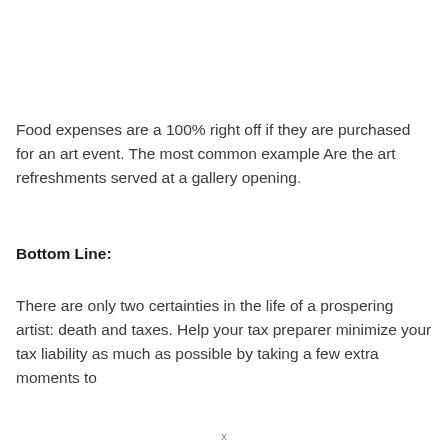Food expenses are a 100% right off if they are purchased for an art event. The most common example Are the art refreshments served at a gallery opening.
Bottom Line:
There are only two certainties in the life of a prospering artist: death and taxes. Help your tax preparer minimize your tax liability as much as possible by taking a few extra moments to
x